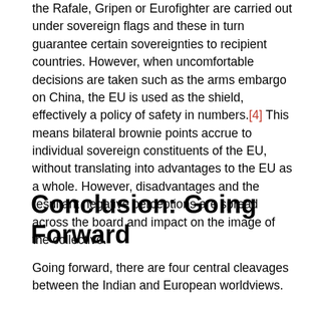the Rafale, Gripen or Eurofighter are carried out under sovereign flags and these in turn guarantee certain sovereignties to recipient countries. However, when uncomfortable decisions are taken such as the arms embargo on China, the EU is used as the shield, effectively a policy of safety in numbers.[4] This means bilateral brownie points accrue to individual sovereign constituents of the EU, without translating into advantages to the EU as a whole. However, disadvantages and the resultant negative perceptions are spread across the board and impact on the image of the collective.
Conclusion: Going Forward
Going forward, there are four central cleavages between the Indian and European worldviews.